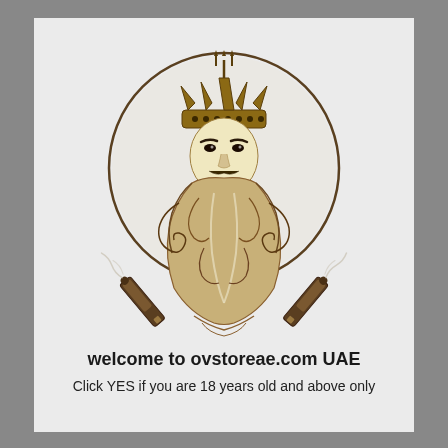[Figure (illustration): Stylized illustration of a bearded king/Neptune figure with a crown featuring a trident, ornate swirling beard, and two vape/e-cigarette devices crossed at the bottom, all enclosed within a thin circular ring. Brown, cream, and gold color palette on a light grey background.]
welcome to ovstoreae.com UAE
Click YES if you are 18 years old and above only